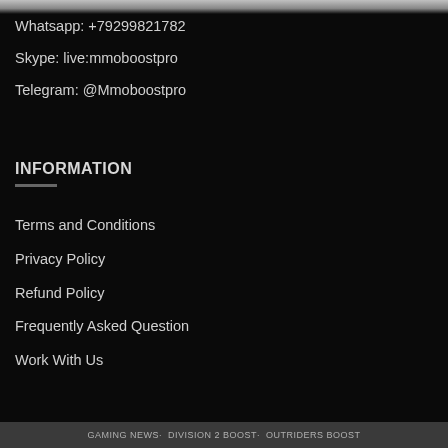Whatsapp: +79299821782
Skype: live:mmoboostpro
Telegram: @Mmoboostpro
INFORMATION
Terms and Conditions
Privacy Policy
Refund Policy
Frequently Asked Question
Work With Us
GAMING NEWS·  DIVISION 2 BOOST·  OUTRIDERS BOOST